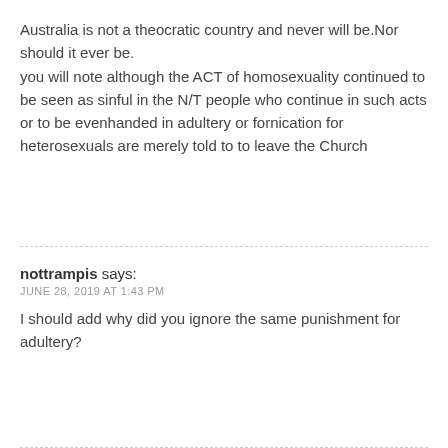Australia is not a theocratic country and never will be.Nor should it ever be.
you will note although the ACT of homosexuality continued to be seen as sinful in the N/T people who continue in such acts or to be evenhanded in adultery or fornication for heterosexuals are merely told to to leave the Church
nottrampis says:
JUNE 28, 2019 AT 1:43 PM
I should add why did you ignore the same punishment for adultery?